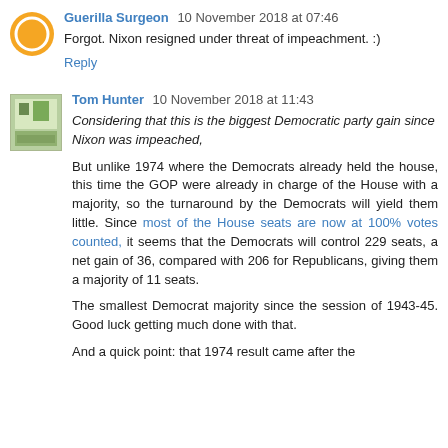Guerilla Surgeon 10 November 2018 at 07:46
Forgot. Nixon resigned under threat of impeachment. :)
Reply
Tom Hunter 10 November 2018 at 11:43
Considering that this is the biggest Democratic party gain since Nixon was impeached,
But unlike 1974 where the Democrats already held the house, this time the GOP were already in charge of the House with a majority, so the turnaround by the Democrats will yield them little. Since most of the House seats are now at 100% votes counted, it seems that the Democrats will control 229 seats, a net gain of 36, compared with 206 for Republicans, giving them a majority of 11 seats.
The smallest Democrat majority since the session of 1943-45. Good luck getting much done with that.
And a quick point: that 1974 result came after the